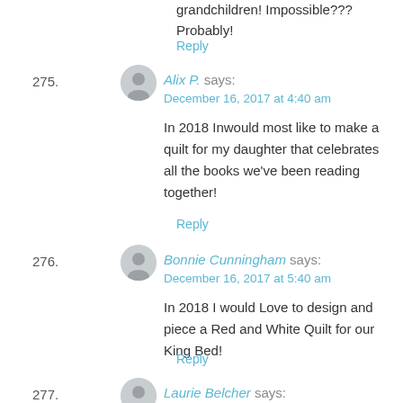grandchildren! Impossible??? Probably!
Reply
Alix P. says:
December 16, 2017 at 4:40 am
In 2018 Inwould most like to make a quilt for my daughter that celebrates all the books we've been reading together!
Reply
Bonnie Cunningham says:
December 16, 2017 at 5:40 am
In 2018 I would Love to design and piece a Red and White Quilt for our King Bed!
Reply
Laurie Belcher says: